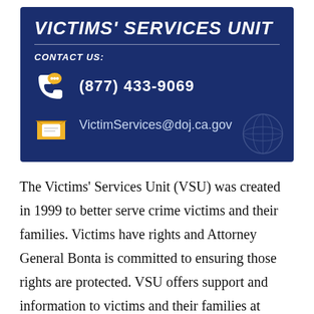[Figure (infographic): Victims' Services Unit contact card on dark blue background with title, phone number (877) 433-9069, and email VictimServices@doj.ca.gov]
The Victims' Services Unit (VSU) was created in 1999 to better serve crime victims and their families. Victims have rights and Attorney General Bonta is committed to ensuring those rights are protected. VSU offers support and information to victims and their families at every stage of the